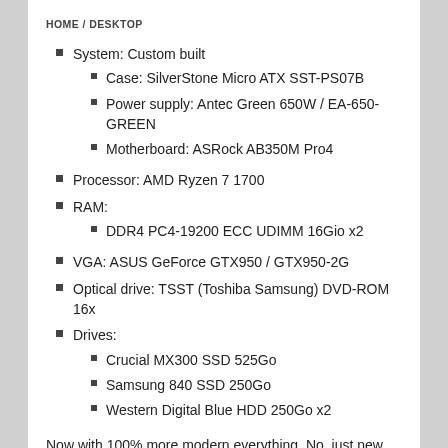HOME / DESKTOP
System: Custom built
Case: SilverStone Micro ATX SST-PS07B
Power supply: Antec Green 650W / EA-650-GREEN
Motherboard: ASRock AB350M Pro4
Processor: AMD Ryzen 7 1700
RAM:
DDR4 PC4-19200 ECC UDIMM 16Gio x2
VGA: ASUS GeForce GTX950 / GTX950-2G
Optical drive: TSST (Toshiba Samsung) DVD-ROM 16x
Drives:
Crucial MX300 SSD 525Go
Samsung 840 SSD 250Go
Western Digital Blue HDD 250Go x2
Now with 100% more modern everything. No, just new processor/motherboard/RAM.
The VGA and SSD can use better upgrade but those will